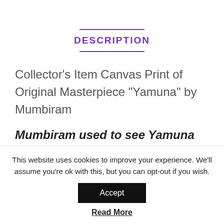DESCRIPTION
Collector’s Item Canvas Print of Original Masterpiece “Yamuna” by Mumbiram
Mumbiram used to see Yamuna while
This website uses cookies to improve your experience. We’ll assume you’re ok with this, but you can opt-out if you wish.
Accept
Read More